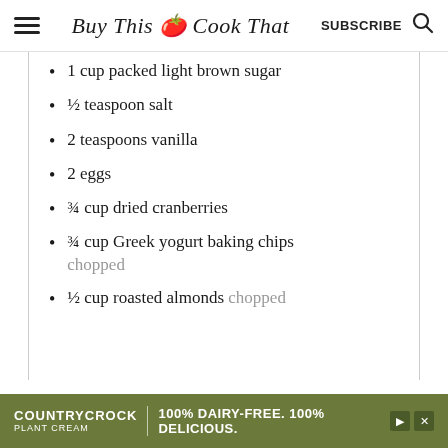Buy This Cook That | SUBSCRIBE
1 cup packed light brown sugar
½ teaspoon salt
2 teaspoons vanilla
2 eggs
¾ cup dried cranberries
¾ cup Greek yogurt baking chips chopped
½ cup roasted almonds chopped
COUNTRY CROCK PLANT CREAM | 100% DAIRY-FREE. 100% DELICIOUS.